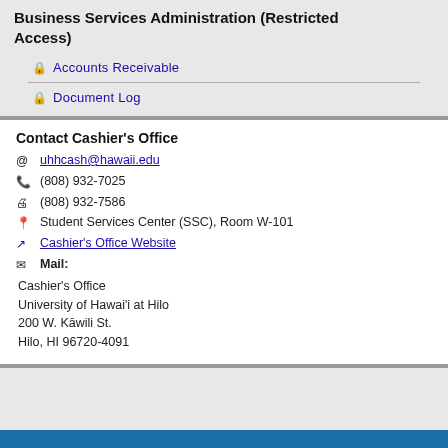Business Services Administration (Restricted Access)
🔒 Accounts Receivable
🔒 Document Log
Contact Cashier's Office
@ uhhcash@hawaii.edu
☎ (808) 932-7025
🖨 (808) 932-7586
📍 Student Services Center (SSC), Room W-101
↗ Cashier's Office Website
✉ Mail:
Cashier's Office
University of Hawai'i at Hilo
200 W. Kāwili St.
Hilo, HI 96720-4091